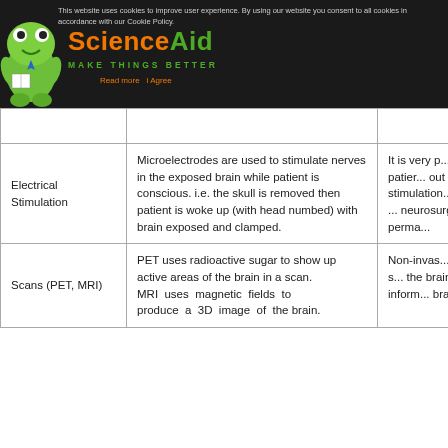ScienceAid — MAKE THINGS BETTER
|  | Description | Notes |
| --- | --- | --- |
|  |  |  |
| Electrical Stimulation | Microelectrodes are used to stimulate nerves in the exposed brain while patient is conscious. i.e. the skull is removed then patient is woke up (with head numbed) with brain exposed and clamped. | It is very p... The patien... out tasks ... stimulation... harmful ... neurosurge... isn't perma... |
| Scans (PET, MRI) | PET uses radioactive sugar to show up active areas of the brain in a scan.
MRI uses magnetic fields to produce a 3D image of the brain. | Non-invas... Detailed s... the brain ... live inform... brain activ... |